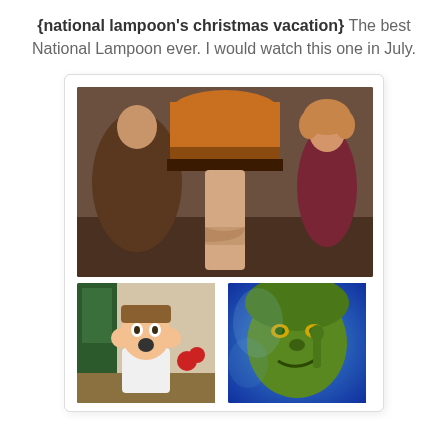{national lampoon's christmas vacation} The best National Lampoon ever. I would watch this one in July.
[Figure (photo): Scene from National Lampoon's Christmas Vacation showing the leg lamp with characters reacting to it]
[Figure (photo): Scene from Home Alone showing young boy with hands on cheeks in shock expression]
[Figure (photo): Scene from How the Grinch Stole Christmas showing the Grinch character in green]